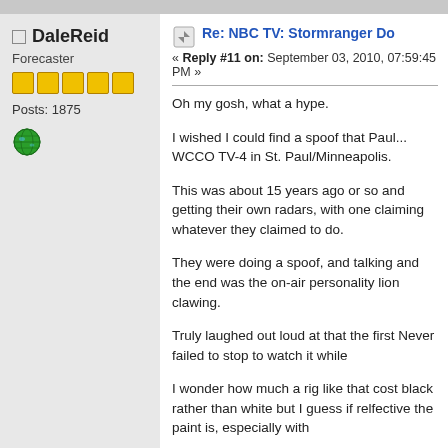DaleReid
Forecaster
Posts: 1875
Re: NBC TV: Stormranger Do
« Reply #11 on: September 03, 2010, 07:59:45 PM »
Oh my gosh, what a hype.
I wished I could find a spoof that Paul... WCCO TV-4 in St. Paul/Minneapolis.
This was about 15 years ago or so and getting their own radars, with one claiming whatever they claimed to do.
They were doing a spoof, and talking and the end was the on-air personality lion clawing.
Truly laughed out loud at that the first Never failed to stop to watch it while
I wonder how much a rig like that cost black rather than white but I guess if relfective the paint is, especially with